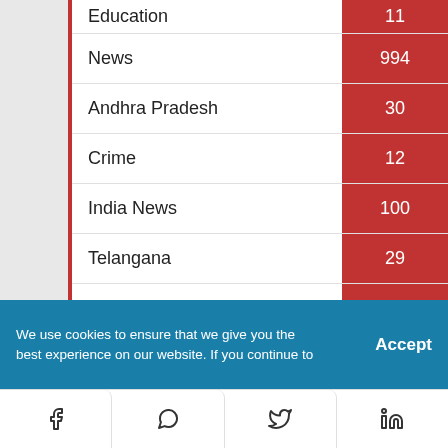| Category | Count |
| --- | --- |
| Education | 11 |
| News | 994 |
| Andhra Pradesh | 30 |
| Crime | 12 |
| India News | 100 |
| Telangana | 29 |
| World News | 27 |
| Sports | 54 |
| Technology | 40 |
We use cookies to ensure that we give you the best experience on our website. If you continue to use this site we will assume that you are happy with it. Accept